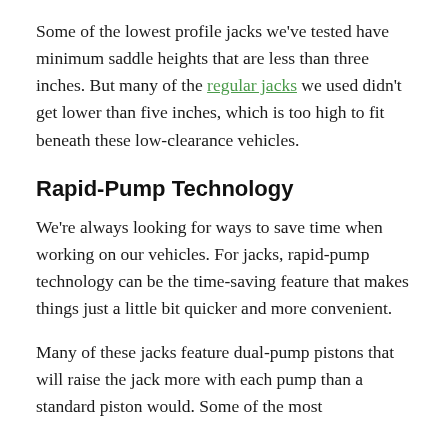Some of the lowest profile jacks we've tested have minimum saddle heights that are less than three inches. But many of the regular jacks we used didn't get lower than five inches, which is too high to fit beneath these low-clearance vehicles.
Rapid-Pump Technology
We're always looking for ways to save time when working on our vehicles. For jacks, rapid-pump technology can be the time-saving feature that makes things just a little bit quicker and more convenient.
Many of these jacks feature dual-pump pistons that will raise the jack more with each pump than a standard piston would. Some of the most